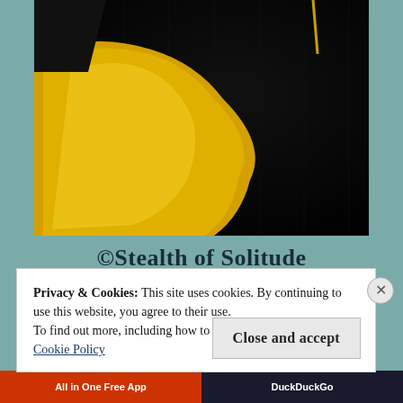[Figure (photo): A close-up photograph of a yellow calla lily flower against a dark black background. The yellow petal and spadix are visible with dramatic contrast.]
©Stealth of Solitude
Privacy & Cookies: This site uses cookies. By continuing to use this website, you agree to their use.
To find out more, including how to control cookies, see here: Cookie Policy
Close and accept